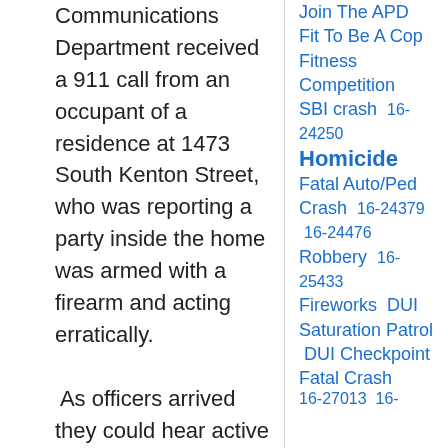Communications Department received a 911 call from an occupant of a residence at 1473 South Kenton Street, who was reporting a party inside the home was armed with a firearm and acting erratically.

 As officers arrived they could hear active gunfire. Officers were confronted by an armed adult male who was wearing body armor. The armed male exchanged gunfire with officers. The armed party was struck by gunfire which stopped the ongoing and active threat.
Join The APD
Fit To Be A Cop
Fitness Competition
SBI crash  16-24250
Homicide
Fatal Auto/Ped Crash  16-24379  16-24476
Robbery  16-25433
Fireworks  DUI Saturation Patrol  DUI Checkpoint
Fatal Crash  16-27013  16-